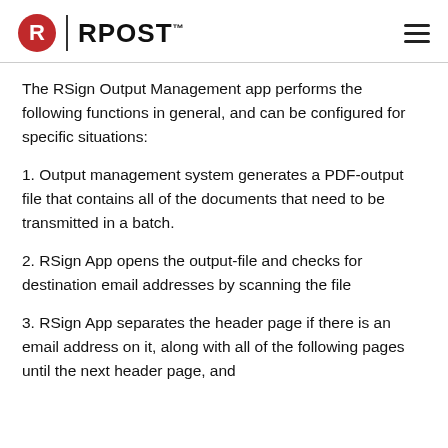RPOST
The RSign Output Management app performs the following functions in general, and can be configured for specific situations:
1. Output management system generates a PDF-output file that contains all of the documents that need to be transmitted in a batch.
2. RSign App opens the output-file and checks for destination email addresses by scanning the file
3. RSign App separates the header page if there is an email address on it, along with all of the following pages until the next header page, and